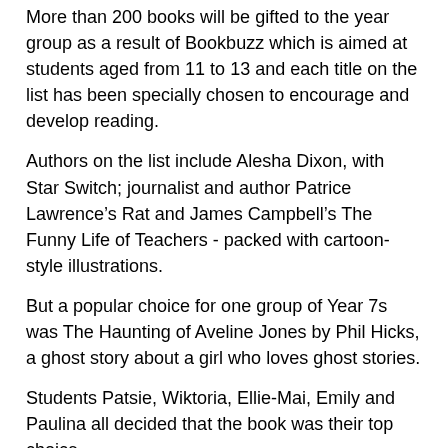More than 200 books will be gifted to the year group as a result of Bookbuzz which is aimed at students aged from 11 to 13 and each title on the list has been specially chosen to encourage and develop reading.
Authors on the list include Alesha Dixon, with Star Switch; journalist and author Patrice Lawrence's Rat and James Campbell's The Funny Life of Teachers - packed with cartoon-style illustrations.
But a popular choice for one group of Year 7s was The Haunting of Aveline Jones by Phil Hicks, a ghost story about a girl who loves ghost stories.
Students Patsie, Wiktoria, Ellie-Mai, Emily and Paulina all decided that the book was their top choice.
“I like a good scary story and that book sounds good,” said Emily.
But adventure was the choice of Ethan who decided on D-Day Dog by Tom Palmer which examines the subject of war through the eyes of a young boy. Max opted for Fireboy, by JM Joseph,